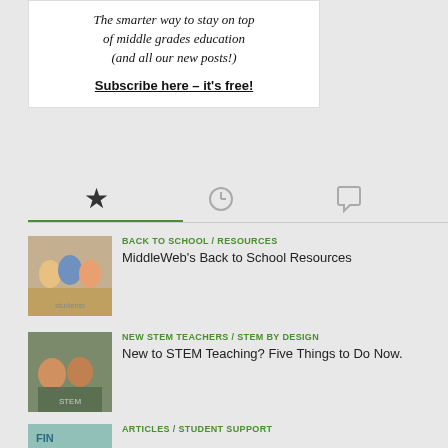The smarter way to stay on top of middle grades education (and all our new posts!)
Subscribe here – it's free!
BACK TO SCHOOL / RESOURCES
MiddleWeb's Back to School Resources
[Figure (photo): Group of middle school students smiling]
NEW STEM TEACHERS / STEM BY DESIGN
New to STEM Teaching? Five Things to Do Now.
[Figure (photo): Students working on STEM project]
ARTICLES / STUDENT SUPPORT
[Figure (photo): Partial image at bottom]